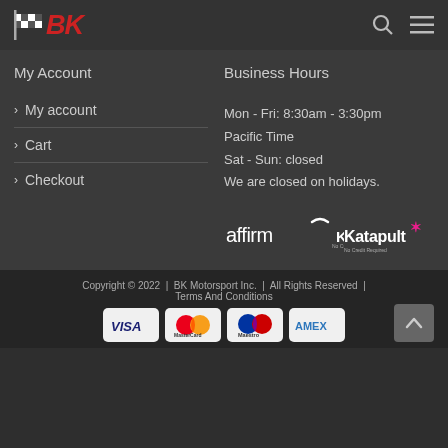[Figure (logo): BK Motorsport logo with checkered flag and red BK text]
My Account
Business Hours
> My account
> Cart
> Checkout
Mon - Fri: 8:30am - 3:30pm Pacific Time
Sat - Sun: closed
We are closed on holidays.
[Figure (logo): Affirm and Katapult payment logos]
Copyright © 2022  |  BK Motorsport Inc.  |  All Rights Reserved  |  Terms And Conditions
[Figure (logo): Payment card logos: VISA, MasterCard, Maestro, AMEX]